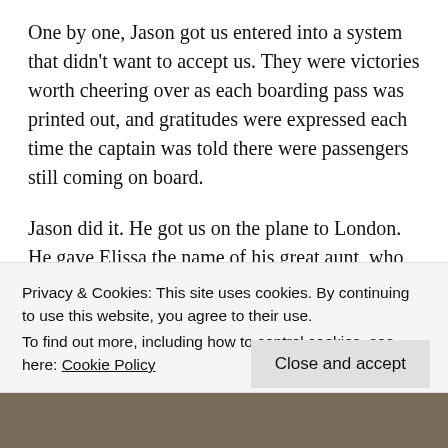One by one, Jason got us entered into a system that didn't want to accept us. They were victories worth cheering over as each boarding pass was printed out, and gratitudes were expressed each time the captain was told there were passengers still coming on board.
Jason did it. He got us on the plane to London. He gave Elissa the name of his great aunt, who owns a hotel in Lucca. We gave him our deepest thanks. As we took our seats on the airplane, among passengers who were, amazingly, not upset by the delay, I marveled over what had just happened. I can't explain how it happened. I only
Privacy & Cookies: This site uses cookies. By continuing to use this website, you agree to their use.
To find out more, including how to control cookies, see here: Cookie Policy
Close and accept